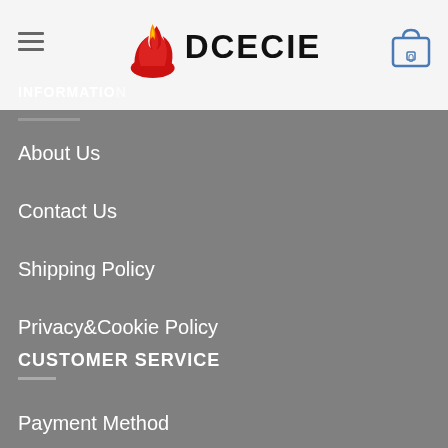DCECIE
INFORMATION
About Us
Contact Us
Shipping Policy
Privacy&Cookie Policy
Refund&Return Policy
CUSTOMER SERVICE
Payment Method